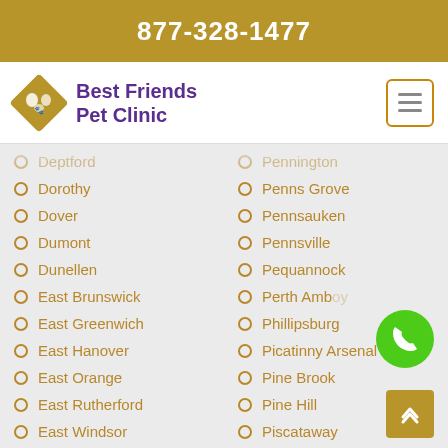877-328-1477
[Figure (logo): Best Friends Pet Clinic logo with diamond shape containing pet silhouettes]
Deptford
Dorothy
Dover
Dumont
Dunellen
East Brunswick
East Greenwich
East Hanover
East Orange
East Rutherford
East Windsor
Eastampton
Eatontown
Pennington
Penns Grove
Pennsauken
Pennsville
Pequannock
Perth Amboy
Phillipsburg
Picatinny Arsenal
Pine Brook
Pine Hill
Piscataway
Pitman
Pittsgrove